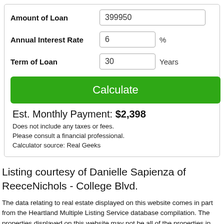Amount of Loan: 399950
Annual Interest Rate: 6 %
Term of Loan: 30 Years
Calculate
Est. Monthly Payment: $2,398
Does not include any taxes or fees.
Please consult a financial professional.
Calculator source: Real Geeks
Listing courtesy of Danielle Sapienza of ReeceNichols - College Blvd.
The data relating to real estate displayed on this website comes in part from the Heartland Multiple Listing Service database compilation. The properties displayed on this website may not be all of the properties in the Heartland MLS database compilation, or all of the properties listed with other brokers participating in the